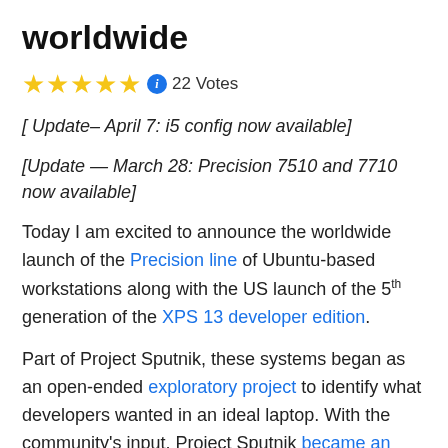worldwide
★★★★★ ℹ 22 Votes
[ Update– April 7: i5 config now available]
[Update — March 28: Precision 7510 and 7710 now available]
Today I am excited to announce the worldwide launch of the Precision line of Ubuntu-based workstations along with the US launch of the 5th generation of the XPS 13 developer edition.
Part of Project Sputnik, these systems began as an open-ended exploratory project to identify what developers wanted in an ideal laptop. With the community's input, Project Sputnik became an official product and continues to evolve. For more of the Sputnik story, including...